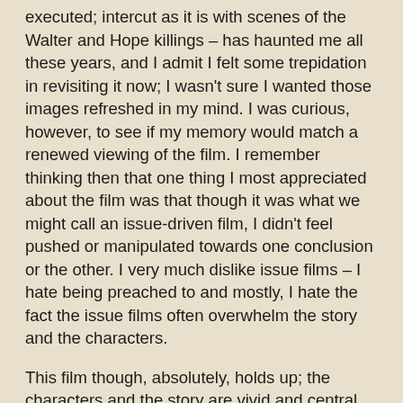executed; intercut as it is with scenes of the Walter and Hope killings – has haunted me all these years, and I admit I felt some trepidation in revisiting it now; I wasn't sure I wanted those images refreshed in my mind. I was curious, however, to see if my memory would match a renewed viewing of the film. I remember thinking then that one thing I most appreciated about the film was that though it was what we might call an issue-driven film, I didn't feel pushed or manipulated towards one conclusion or the other. I very much dislike issue films – I hate being preached to and mostly, I hate the fact the issue films often overwhelm the story and the characters.
This film though, absolutely, holds up; the characters and the story are vivid and central, and while it is a film about capital punishment, while it does push the idea that the use of capital punishment seems mostly to be driven by politicians who want to be re-elected, while it does push the idea that capital punishment is meted out only to those who can't afford high-powered lawyers so that the poor are at a disadvantage, ultimately, the film raises a question or questions (namely, I think, "if a murderer is a human being,